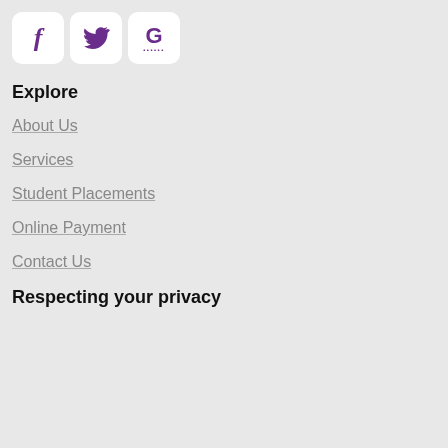[Figure (illustration): Three social media icon buttons in rounded white boxes: Facebook (f), Twitter (bird), Google (G with dots)]
Explore
About Us
Services
Student Placements
Online Payment
Contact Us
Respecting your privacy